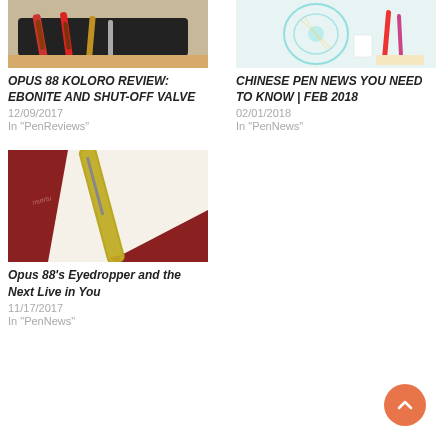[Figure (photo): Photo of red screwdrivers/pens in a black case on a wooden surface]
OPUS 88 KOLORO REVIEW: EBONITE AND SHUT-OFF VALVE
12/09/2017
In "PenReviews"
[Figure (photo): Photo of a glowing decorative lamp and cosmetics on a light background]
CHINESE PEN NEWS YOU NEED TO KNOW | FEB 2018
02/01/2018
In "PenNews"
[Figure (photo): Photo of a yellow-green fountain pen on a dark red book/notebook]
Opus 88's Eyedropper and the Next Live in You
11/17/2017
In "PenNews"